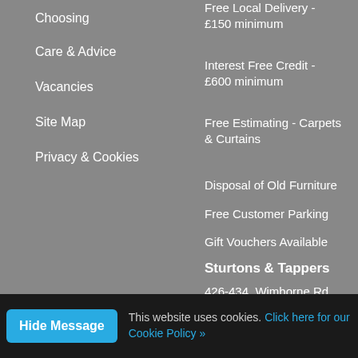Choosing
Care & Advice
Vacancies
Site Map
Privacy & Cookies
Free Local Delivery - £150 minimum
Interest Free Credit - £600 minimum
Free Estimating - Carpets & Curtains
Disposal of Old Furniture
Free Customer Parking
Gift Vouchers Available
Sturtons & Tappers
426-434, Wimborne Rd
Bournemouth
This website uses cookies. Click here for our Cookie Policy »